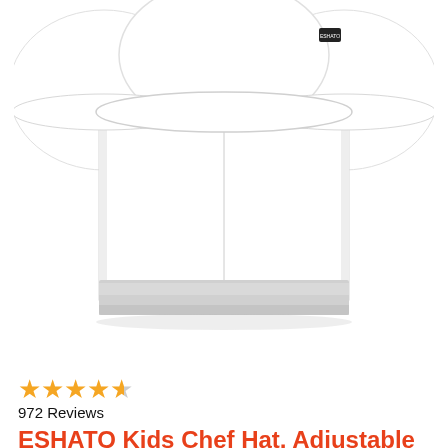[Figure (photo): White chef hat (toque) photographed from above on white background, showing the tall crown, wide brim, elastic band at base, and a small black label tag near the top.]
[Figure (infographic): 4 and a half gold star rating]
972 Reviews
ESHATO Kids Chef Hat, Adjustable Elastic Cotton Cooking Cap for Children White
⬛Preferred Material⬛This chef cap is